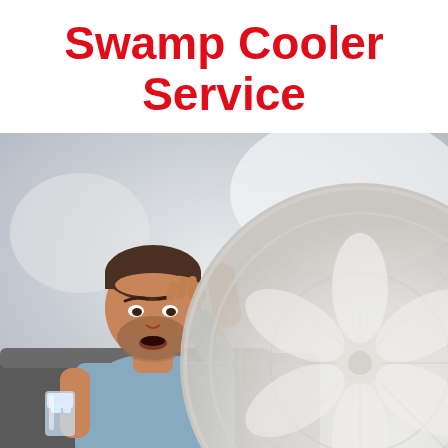Swamp Cooler Service
[Figure (photo): A man sitting on a couch, looking hot and distressed, holding a glass of water with ice. He has one hand raised to his forehead and is leaning toward an electric fan (partially visible in the foreground, blurred). The room has a light, bright interior.]